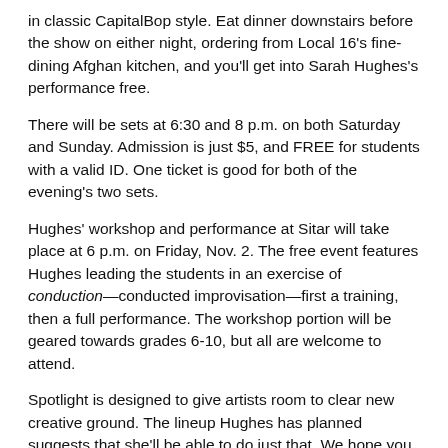in classic CapitalBop style. Eat dinner downstairs before the show on either night, ordering from Local 16's fine-dining Afghan kitchen, and you'll get into Sarah Hughes's performance free.
There will be sets at 6:30 and 8 p.m. on both Saturday and Sunday. Admission is just $5, and FREE for students with a valid ID. One ticket is good for both of the evening's two sets.
Hughes' workshop and performance at Sitar will take place at 6 p.m. on Friday, Nov. 2. The free event features Hughes leading the students in an exercise of conduction—conducted improvisation—first a training, then a full performance. The workshop portion will be geared towards grades 6-10, but all are welcome to attend.
Spotlight is designed to give artists room to clear new creative ground. The lineup Hughes has planned suggests that she'll be able to do just that. We hope you can join us for this exciting new chapter of the Spotlight residency!